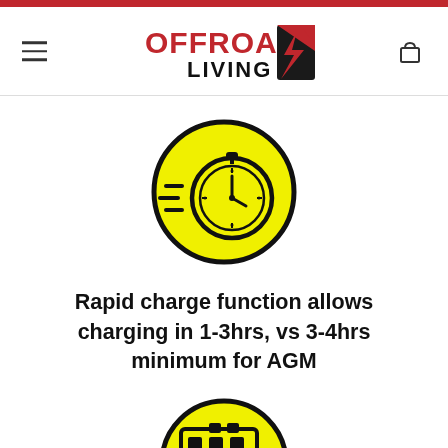OFFROAD LIVING
[Figure (illustration): Yellow circle with black outline containing a fast-moving stopwatch/timer icon with speed lines on the left side]
Rapid charge function allows charging in 1-3hrs, vs 3-4hrs minimum for AGM
[Figure (illustration): Yellow circle with black outline containing a battery/calendar icon (partially visible at bottom)]